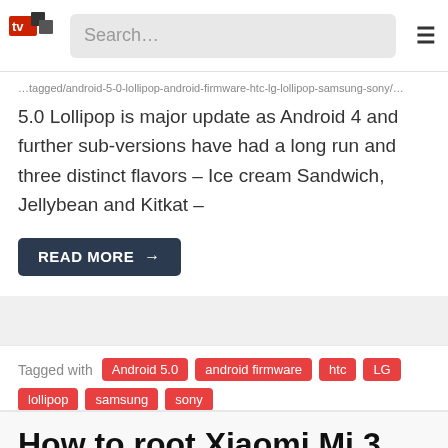Search…
5.0 Lollipop is major update as Android 4 and further sub-versions have had a long run and three distinct flavors – Ice cream Sandwich, Jellybean and Kitkat –
READ MORE →
Tagged with Android 5.0 android firmware htc LG lollipop samsung sony
How to root Xiaomi Mi 3 latest MIUI (WCDMA/3G)